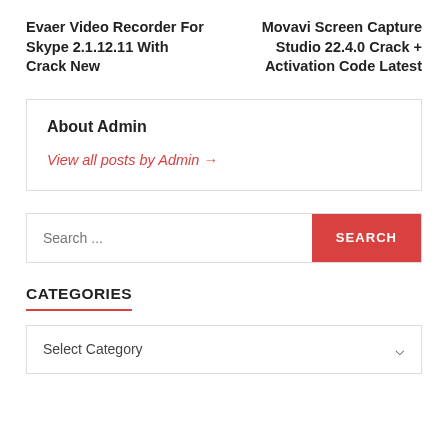Evaer Video Recorder For Skype 2.1.12.11 With Crack New
Movavi Screen Capture Studio 22.4.0 Crack + Activation Code Latest
About Admin
View all posts by Admin →
Search ...
CATEGORIES
Select Category